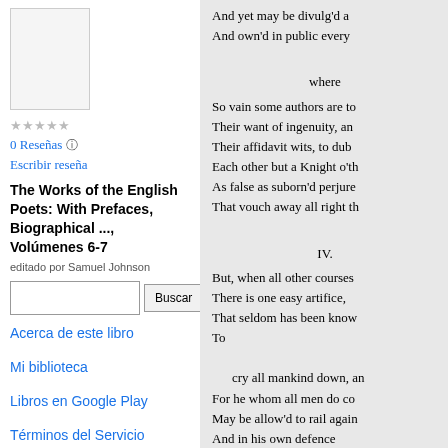[Figure (photo): Thumbnail of book cover for The Works of the English Poets]
0 Reseñas
Escribir reseña
The Works of the English Poets: With Prefaces, Biographical ..., Volúmenes 6-7
editado por Samuel Johnson
Buscar
Acerca de este libro
Mi biblioteca
Libros en Google Play
Términos del Servicio
And yet may be divulg'd a
And own'd in public every

where

So vain some authors are to
Their want of ingenuity, an
Their affidavit wits, to dub
Each other but a Knight o'th
As false as suborn'd perjure
That vouch away all right th

IV.

But, when all other courses
There is one easy artifice,
That seldom has been know
To

   cry all mankind down, an
For he whom all men do co
May be allow'd to rail again
And in his own defence
To outface reason, wit, and

75 And all that makes against